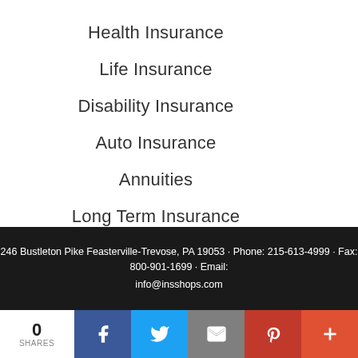Health Insurance
Life Insurance
Disability Insurance
Auto Insurance
Annuities
Long Term Insurance
246 Bustleton Pike Feasterville-Trevose, PA 19053 · Phone: 215-613-4999 · Fax: 800-901-1699 · Email: info@insshops.com